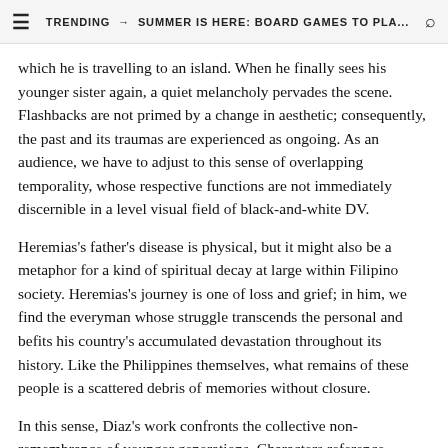TRENDING → SUMMER IS HERE: BOARD GAMES TO PLA...
which he is travelling to an island. When he finally sees his younger sister again, a quiet melancholy pervades the scene. Flashbacks are not primed by a change in aesthetic; consequently, the past and its traumas are experienced as ongoing. As an audience, we have to adjust to this sense of overlapping temporality, whose respective functions are not immediately discernible in a level visual field of black-and-white DV.
Heremias's father's disease is physical, but it might also be a metaphor for a kind of spiritual decay at large within Filipino society. Heremias's journey is one of loss and grief; in him, we find the everyman whose struggle transcends the personal and befits his country's accumulated devastation throughout its history. Like the Philippines themselves, what remains of these people is a scattered debris of memories without closure.
In this sense, Diaz's work confronts the collective non-remembrance of younger generations. Characters reference ancestors in the present tense; the continuation of superstitions – such as that in Heremias Book II involving a snake's tail – and a return to folk traditions are questioned by means of perpetuation.